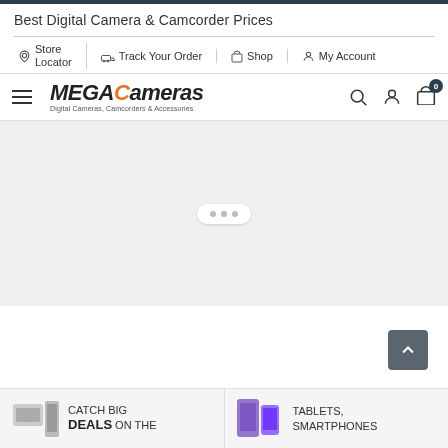Best Digital Camera & Camcorder Prices
Store Locator | Track Your Order | Shop | My Account
[Figure (logo): MEGAcameras logo with orange C, subtitle: Digital Cameras, Camcorders & Accessories. Header bar with hamburger menu, search, user, and cart icons (badge: 0).]
[Figure (screenshot): Light grey hero banner area with a loading indicator (three dots inside a white rounded pill shape)]
CATCH BIG DEALS ON THE
TABLETS, SMARTPHONES